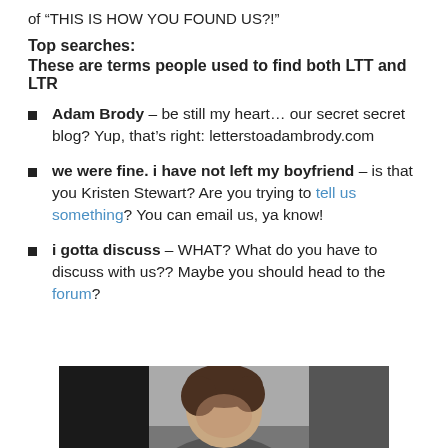of “THIS IS HOW YOU FOUND US?!”
Top searches:
These are terms people used to find both LTT and LTR
Adam Brody – be still my heart… our secret secret blog? Yup, that’s right: letterstoadambrody.com
we were fine. i have not left my boyfriend – is that you Kristen Stewart? Are you trying to tell us something? You can email us, ya know!
i gotta discuss – WHAT? What do you have to discuss with us?? Maybe you should head to the forum?
[Figure (photo): Partial photo of a person with dark hair, cropped at bottom of page]